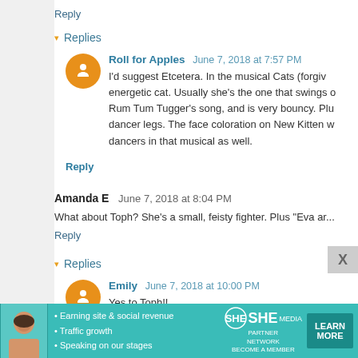Reply
▾ Replies
Roll for Apples  June 7, 2018 at 7:57 PM
I'd suggest Etcetera. In the musical Cats (forgiv... energetic cat. Usually she's the one that swings d... Rum Tum Tugger's song, and is very bouncy. Plu... dancer legs. The face coloration on New Kitten w... dancers in that musical as well.
Reply
Amanda E  June 7, 2018 at 8:04 PM
What about Toph? She's a small, feisty fighter. Plus "Eva ar...
Reply
▾ Replies
Emily  June 7, 2018 at 10:00 PM
Yes to Toph!!
[Figure (infographic): Advertisement banner for SHE Partner Network with bullet points: Earning site & social revenue, Traffic growth, Speaking on our stages. Includes woman photo, SHE logo, LEARN MORE button.]